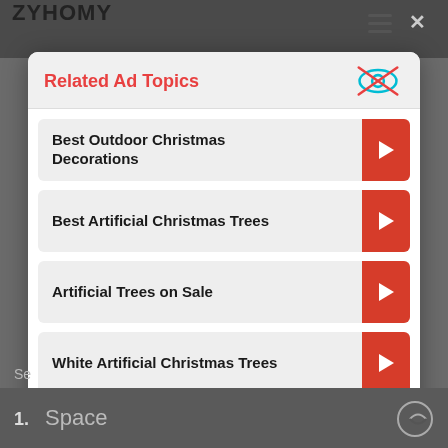[Figure (screenshot): Website header with ZYHOMY logo on dark background, hamburger menu icon, and X close button]
Related Ad Topics
Best Outdoor Christmas Decorations
Best Artificial Christmas Trees
Artificial Trees on Sale
White Artificial Christmas Trees
Continue to Site >>
1. Space